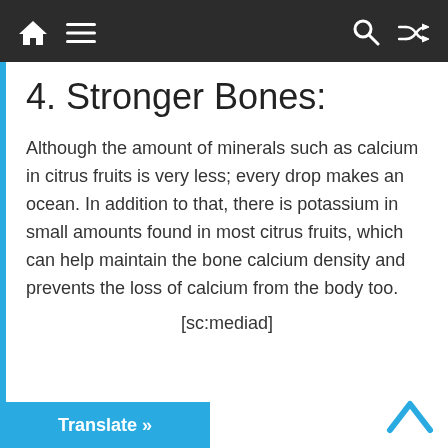Navigation bar with home, menu, search, and shuffle icons
4. Stronger Bones:
Although the amount of minerals such as calcium in citrus fruits is very less; every drop makes an ocean. In addition to that, there is potassium in small amounts found in most citrus fruits, which can help maintain the bone calcium density and prevents the loss of calcium from the body too.
[sc:mediad]
Translate »